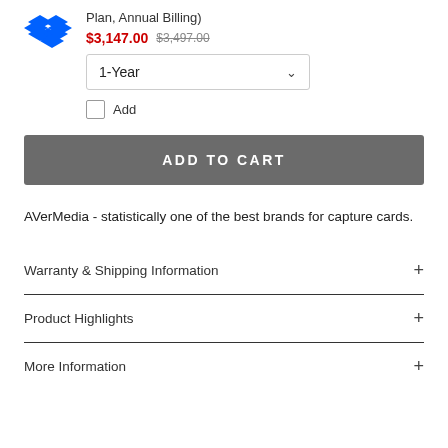[Figure (logo): Dropbox blue diamond logo]
Plan, Annual Billing)
$3,147.00  $3,497.00
1-Year (dropdown selector)
Add (checkbox)
ADD TO CART
AVerMedia - statistically one of the best brands for capture cards.
Warranty & Shipping Information +
Product Highlights +
More Information +